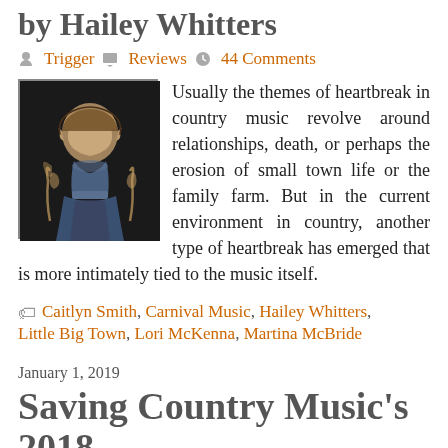by Hailey Whitters
Trigger · Reviews · 44 Comments
[Figure (photo): Photo of Hailey Whitters playing guitar, dark background]
Usually the themes of heartbreak in country music revolve around relationships, death, or perhaps the erosion of small town life or the family farm. But in the current environment in country, another type of heartbreak has emerged that is more intimately tied to the music itself.
Caitlyn Smith, Carnival Music, Hailey Whitters, Little Big Town, Lori McKenna, Martina McBride
January 1, 2019
Saving Country Music's 2018 Song of the Year